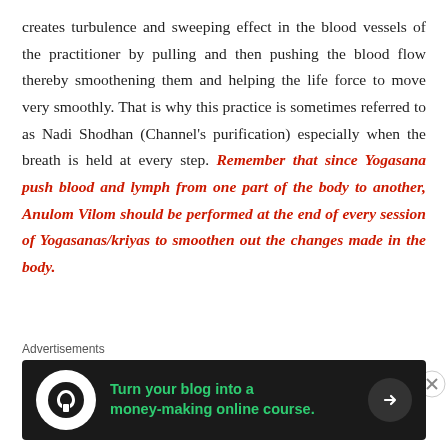creates turbulence and sweeping effect in the blood vessels of the practitioner by pulling and then pushing the blood flow thereby smoothening them and helping the life force to move very smoothly. That is why this practice is sometimes referred to as Nadi Shodhan (Channel's purification) especially when the breath is held at every step. Remember that since Yogasana push blood and lymph from one part of the body to another, Anulom Vilom should be performed at the end of every session of Yogasanas/kriyas to smoothen out the changes made in the body.
Deep breathing during such exercises also helps
Advertisements
[Figure (infographic): Advertisement banner: dark background with Teachable logo (tree icon in white circle), green text 'Turn your blog into a money-making online course.' with right arrow button.]